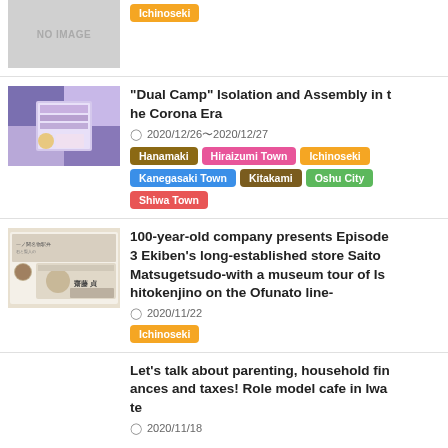[Figure (photo): No image placeholder (gray box with NO IMAGE text) and an orange Ichinoseki tag below]
"Dual Camp" Isolation and Assembly in the Corona Era
2020/12/26〜2020/12/27
Hanamaki | Hiraizumi Town | Ichinoseki | Kanegasaki Town | Kitakami | Oshu City | Shiwa Town
100-year-old company presents Episode 3 Ekiben's long-established store Saito Matsugetsudo-with a museum tour of Ishitokenjino on the Ofunato line-
2020/11/22
Ichinoseki
Let's talk about parenting, household finances and taxes! Role model cafe in Iwate
2020/11/18